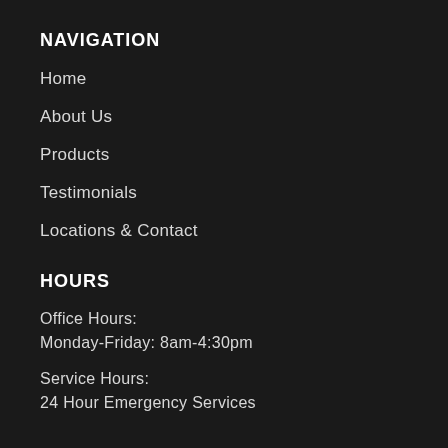NAVIGATION
Home
About Us
Products
Testimonials
Locations & Contact
HOURS
Office Hours:
Monday-Friday: 8am-4:30pm
Service Hours:
24 Hour Emergency Services